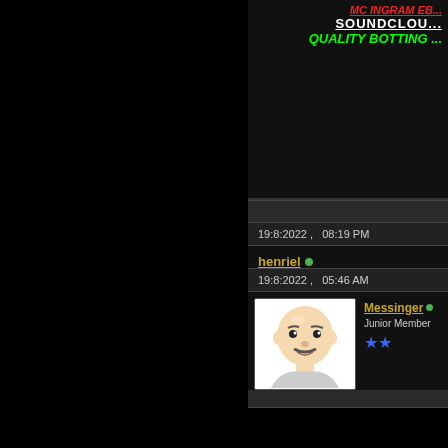MC INGRAM EB...
SOUNDCLOU...
QUALITY BOTTING ...
19:8:2022 ,   08:19 PM
henriel • Newbies ★
Re:
amazing! thanks
19:8:2022 ,   05:46 AM
Messinger • Junior Member ★★